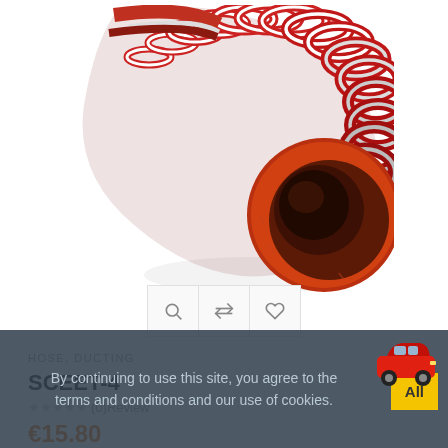[Figure (photo): A red and silver corrugated flexible hose/ducting tube shown at an angle, with the open circular end facing forward showing a deep red interior.]
HOSE, DUCTING
SCEET-4
★★★★★ (0)Review
€15.80
By continuing to use this site, you agree to the terms and conditions and our use of cookies.